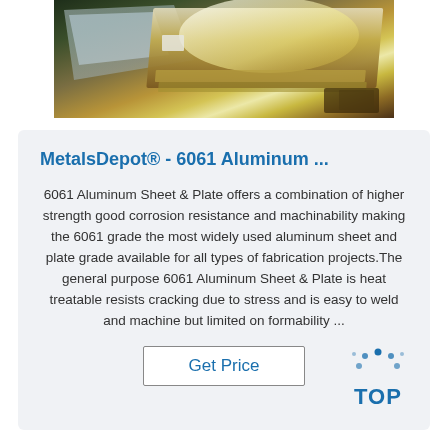[Figure (photo): Photo of aluminum sheet/plate wrapped in plastic packaging with metallic golden/silver surfaces visible]
MetalsDepot® - 6061 Aluminum ...
6061 Aluminum Sheet & Plate offers a combination of higher strength good corrosion resistance and machinability making the 6061 grade the most widely used aluminum sheet and plate grade available for all types of fabrication projects.The general purpose 6061 Aluminum Sheet & Plate is heat treatable resists cracking due to stress and is easy to weld and machine but limited on formability ...
Get Price